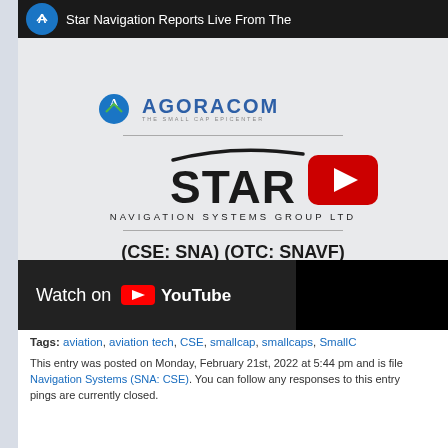[Figure (screenshot): YouTube video thumbnail showing Star Navigation Systems Group Ltd (CSE: SNA) (OTC: SNAVF) with AGORACOM branding, YouTube play button, and 'Watch on YouTube' bar at bottom]
Tags: aviation, aviation tech, CSE, smallcap, smallcaps, SmallC...
This entry was posted on Monday, February 21st, 2022 at 5:44 pm and is filed under Star Navigation Systems (SNA: CSE). You can follow any responses to this entry... pings are currently closed.